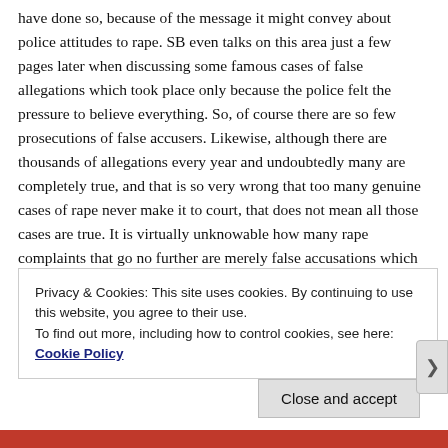have done so, because of the message it might convey about police attitudes to rape. SB even talks on this area just a few pages later when discussing some famous cases of false allegations which took place only because the police felt the pressure to believe everything. So, of course there are so few prosecutions of false accusers. Likewise, although there are thousands of allegations every year and undoubtedly many are completely true, and that is so very wrong that too many genuine cases of rape never make it to court, that does not mean all those cases are true. It is virtually unknowable how many rape complaints that go no further are merely false accusations which didn't
Privacy & Cookies: This site uses cookies. By continuing to use this website, you agree to their use.
To find out more, including how to control cookies, see here: Cookie Policy
Close and accept